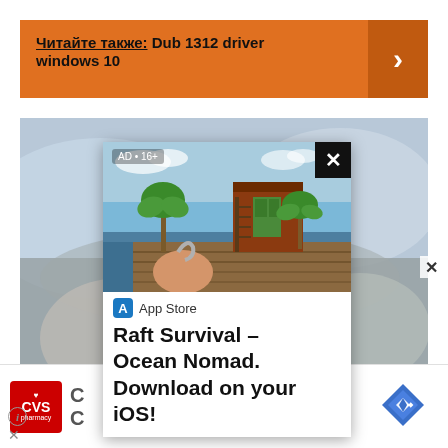Читайте также: Dub 1312 driver windows 10
[Figure (screenshot): App Store advertisement popup for Raft Survival - Ocean Nomad game, showing a 3D rendered raft scene with palm trees and wooden structures on water, overlaid on a blurred background photo]
AD • 16+
App Store
Raft Survival – Ocean Nomad. Download on your iOS!
[Figure (logo): CVS Pharmacy red logo]
[Figure (infographic): Blue diamond navigation icon]